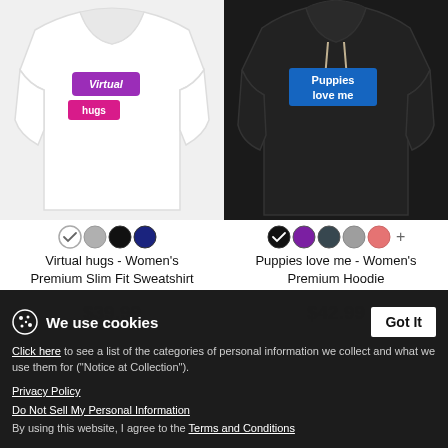[Figure (photo): White women's slim fit sweatshirt with 'Virtual hugs' graphic label in purple/pink]
Virtual hugs - Women's Premium Slim Fit Sweatshirt
$39.99
[Figure (photo): Black women's premium hoodie with 'Puppies love me' graphic label in blue]
Puppies love me - Women's Premium Hoodie
$42.99
We use cookies
Click here to see a list of the categories of personal information we collect and what we use them for ("Notice at Collection").
Privacy Policy
Do Not Sell My Personal Information
By using this website, I agree to the Terms and Conditions